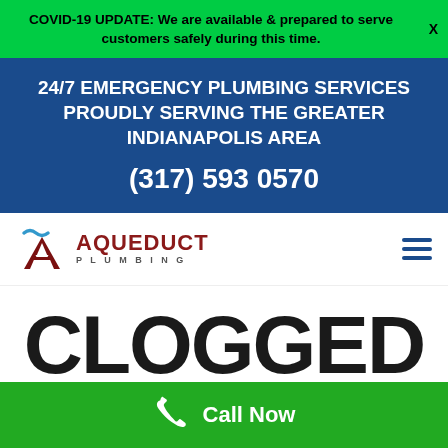COVID-19 UPDATE: We are available & prepared to serve customers safely during this time. X
24/7 EMERGENCY PLUMBING SERVICES PROUDLY SERVING THE GREATER INDIANAPOLIS AREA
(317) 593 0570
[Figure (logo): Aqueduct Plumbing logo with stylized A icon in dark red and blue tilde, with text AQUEDUCT PLUMBING and hamburger menu icon]
CLOGGED
Call Now